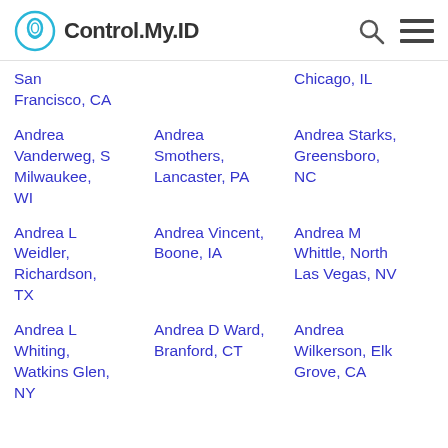Control.My.ID
San Francisco, CA
Chicago, IL
Andrea Vanderweg, S Milwaukee, WI
Andrea Smothers, Lancaster, PA
Andrea Starks, Greensboro, NC
Andrea L Weidler, Richardson, TX
Andrea Vincent, Boone, IA
Andrea M Whittle, North Las Vegas, NV
Andrea L Whiting, Watkins Glen, NY
Andrea D Ward, Branford, CT
Andrea Wilkerson, Elk Grove, CA